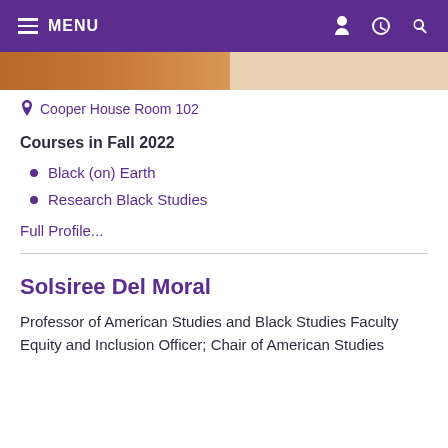MENU
[Figure (photo): Partial image strip showing a person photo cropped at top]
Cooper House Room 102
Courses in Fall 2022
Black (on) Earth
Research Black Studies
Full Profile...
Solsiree Del Moral
Professor of American Studies and Black Studies Faculty Equity and Inclusion Officer; Chair of American Studies